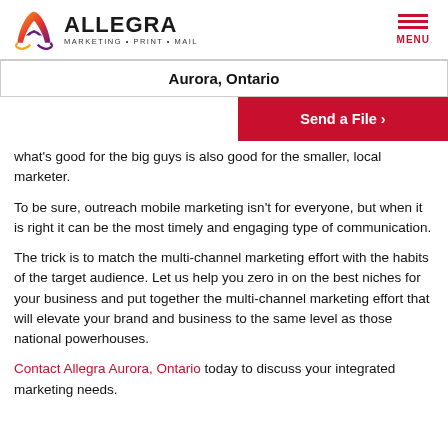[Figure (logo): Allegra Marketing Print Mail logo with stylized A icon]
Aurora, Ontario
Send a File ›
what's good for the big guys is also good for the smaller, local marketer.
To be sure, outreach mobile marketing isn't for everyone, but when it is right it can be the most timely and engaging type of communication.
The trick is to match the multi-channel marketing effort with the habits of the target audience. Let us help you zero in on the best niches for your business and put together the multi-channel marketing effort that will elevate your brand and business to the same level as those national powerhouses.
Contact Allegra Aurora, Ontario today to discuss your integrated marketing needs.